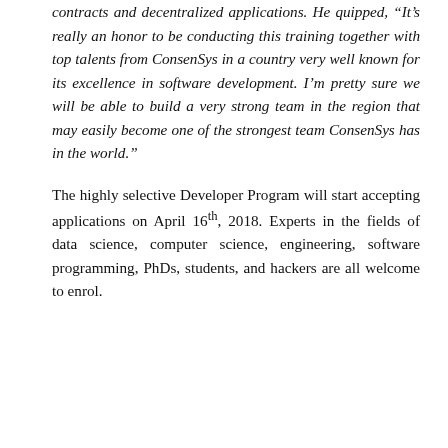contracts and decentralized applications. He quipped, “It’s really an honor to be conducting this training together with top talents from ConsenSys in a country very well known for its excellence in software development. I’m pretty sure we will be able to build a very strong team in the region that may easily become one of the strongest team ConsenSys has in the world.”
The highly selective Developer Program will start accepting applications on April 16th, 2018. Experts in the fields of data science, computer science, engineering, software programming, PhDs, students, and hackers are all welcome to enrol.